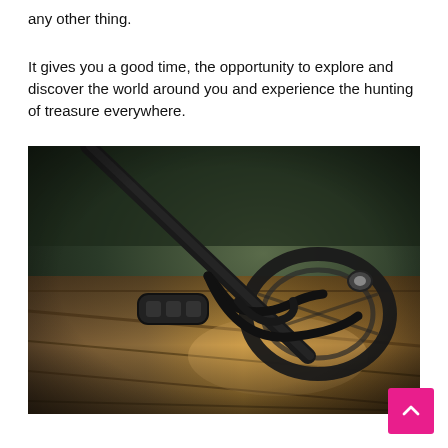any other thing.
It gives you a good time, the opportunity to explore and discover the world around you and experience the hunting of treasure everywhere.
[Figure (photo): A metal detector with its circular coil and cable laid flat on a weathered wooden surface, with dark green foliage visible in the blurred background.]